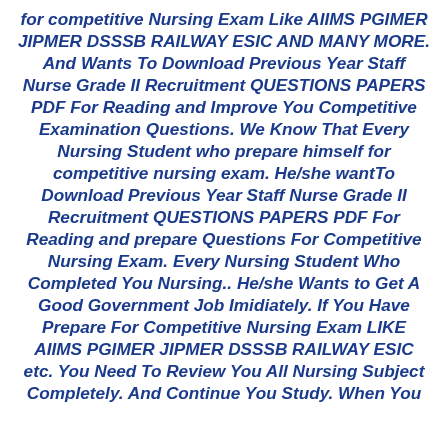for competitive Nursing Exam Like AIIMS PGIMER JIPMER DSSSB RAILWAY ESIC AND MANY MORE. And Wants To Download Previous Year Staff Nurse Grade II Recruitment QUESTIONS PAPERS PDF For Reading and Improve You Competitive Examination Questions. We Know That Every Nursing Student who prepare himself for competitive nursing exam. He/she wantTo Download Previous Year Staff Nurse Grade II Recruitment QUESTIONS PAPERS PDF For Reading and prepare Questions For Competitive Nursing Exam. Every Nursing Student Who Completed You Nursing.. He/she Wants to Get A Good Government Job Imidiately. If You Have Prepare For Competitive Nursing Exam LIKE AIIMS PGIMER JIPMER DSSSB RAILWAY ESIC etc. You Need To Review You All Nursing Subject Completely. And Continue You Study. When You